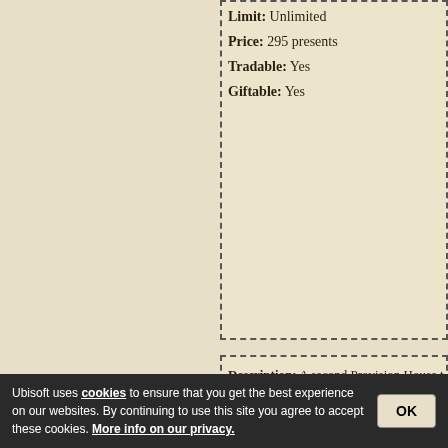Limit: Unlimited
Price: 295 presents
Tradable: Yes
Giftable: Yes
Description: A second Provision House t...
Star Menu: Goes back to your Star Menu...
Limit: 1 per player in total (if you alread...
Does Not: Available...
Tradable: No
Giftable: No
Ubisoft uses cookies to ensure that you get the best experience on our websites. By continuing to use this site you agree to accept these cookies. More info on our privacy.